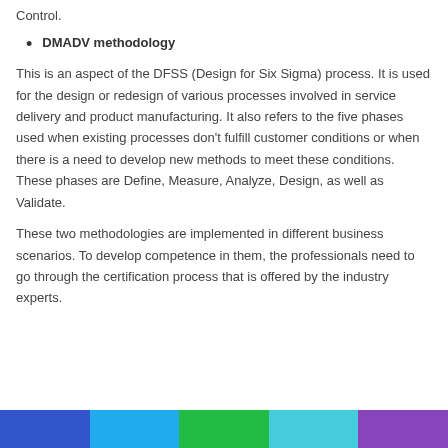Control.
DMADV methodology
This is an aspect of the DFSS (Design for Six Sigma) process. It is used for the design or redesign of various processes involved in service delivery and product manufacturing. It also refers to the five phases used when existing processes don't fulfill customer conditions or when there is a need to develop new methods to meet these conditions. These phases are Define, Measure, Analyze, Design, as well as Validate.
These two methodologies are implemented in different business scenarios. To develop competence in them, the professionals need to go through the certification process that is offered by the industry experts.